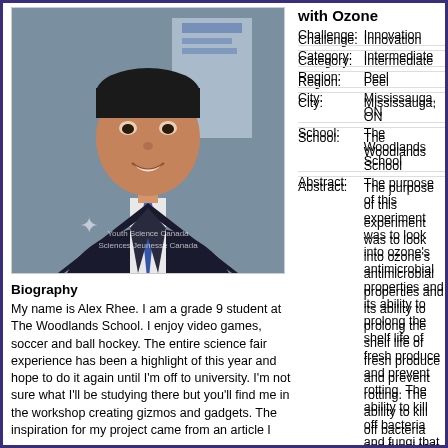with Ozone
[Figure (photo): Portrait photo of Alex Rhee, a young student in a suit and blue tie, with a Youth Science Canada / Sciences Jeunesse Canada watermark]
Biography
My name is Alex Rhee. I am a grade 9 student at The Woodlands School. I enjoy video games, soccer and ball hockey. The entire science fair experience has been a highlight of this year and hope to do it again until I'm off to university. I'm not sure what I'll be studying there but you'll find me in the workshop creating gizmos and gadgets. The inspiration for my project came from an article I
| Field | Value |
| --- | --- |
| Challenge: | Innovation |
| Category: | Intermediate |
| Region: | Peel |
| City: | Mississauga, ON |
| School: | The Woodlands School |
| Abstract: | The purpose of this experiment was to look into ozone's antimicrobial properties and its ability to prolong the shelf life of fresh produce and prevent rotting. The ability to kill off bacteria and fungi that was proven using an apparatus and |